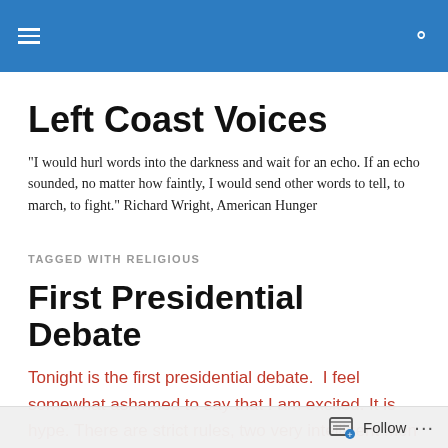Left Coast Voices [site header bar with menu and search icons]
Left Coast Voices
"I would hurl words into the darkness and wait for an echo. If an echo sounded, no matter how faintly, I would send other words to tell, to march, to fight." Richard Wright, American Hunger
TAGGED WITH RELIGIOUS
First Presidential Debate
Tonight is the first presidential debate.  I feel somewhat ashamed to say that I am excited. It is hype. There are strict rules, two very intelligent men have been prepping
Follow ...